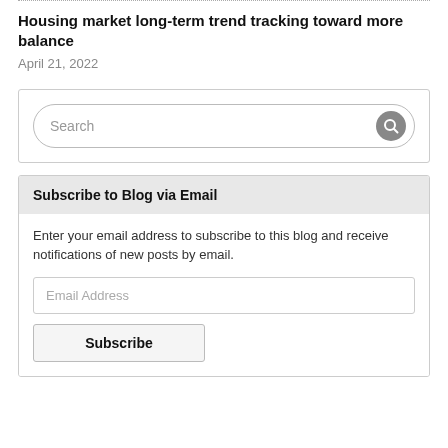Housing market long-term trend tracking toward more balance
April 21, 2022
[Figure (screenshot): Search bar widget with rounded border and search icon button]
Subscribe to Blog via Email
Enter your email address to subscribe to this blog and receive notifications of new posts by email.
[Figure (screenshot): Email address input field placeholder and Subscribe button]